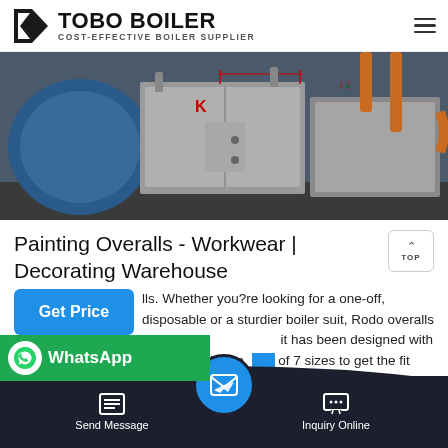TOBO BOILER COST-EFFECTIVE BOILER SUPPLIER
[Figure (photo): Industrial boiler room showing large stainless steel boiler units with piping and industrial equipment]
Painting Overalls - Workwear | Decorating Warehouse
lls. Whether you?re looking for a one-off, disposable or a sturdier boiler suit, Rodo overalls have you it has been designed with comfort and e fro of 7 sizes to get the fit that
Send Message | Inquiry Online